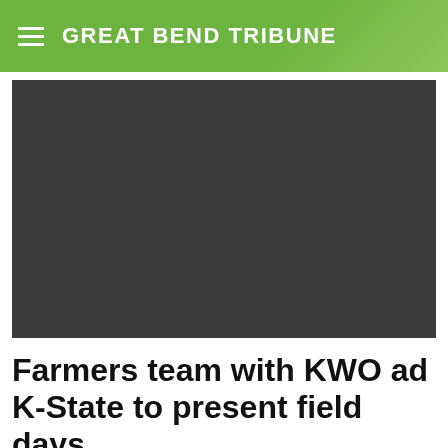GREAT BEND TRIBUNE
[Figure (photo): Dark gray placeholder image for a news article photo]
Farmers team with KWO ad K-State to present field days